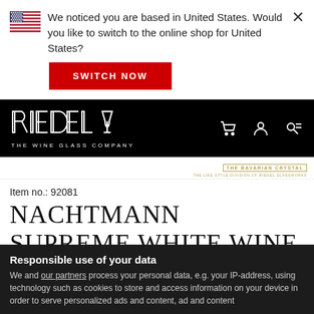We noticed you are based in United States. Would you like to switch to the online shop for United States?
SWITCH NOW
[Figure (logo): Riedel The Wine Glass Company logo with wine glass icon, white text on black background]
[Figure (logo): Nachtmann - The Bavarian Crystal, The Life Style Division of Riedel Glassworks logo in gold]
Item no.: 92081
NACHTMANN SUPREME WHITE WINE GLASS
Responsible use of your data
We and our partners process your personal data, e.g. your IP-address, using technology such as cookies to store and access information on your device in order to serve personalized ads and content, ad and content